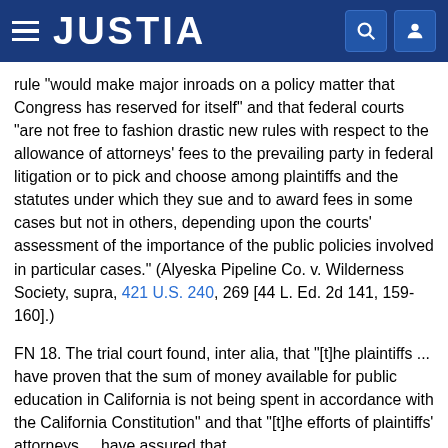JUSTIA
rule "would make major inroads on a policy matter that Congress has reserved for itself" and that federal courts "are not free to fashion drastic new rules with respect to the allowance of attorneys' fees to the prevailing party in federal litigation or to pick and choose among plaintiffs and the statutes under which they sue and to award fees in some cases but not in others, depending upon the courts' assessment of the importance of the public policies involved in particular cases." (Alyeska Pipeline Co. v. Wilderness Society, supra, 421 U.S. 240, 269 [44 L. Ed. 2d 141, 159-160].)
FN 18. The trial court found, inter alia, that "[t]he plaintiffs ... have proven that the sum of money available for public education in California is not being spent in accordance with the California Constitution" and that "[t]he efforts of plaintiffs' attorneys ... have assured that